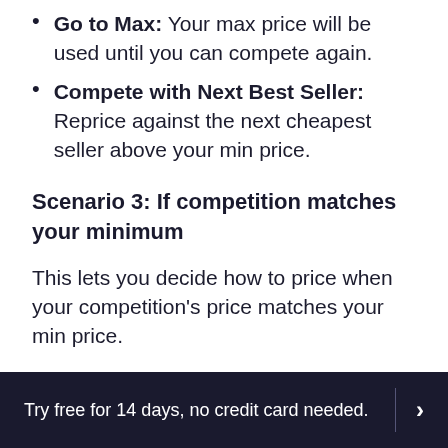Go to Max: Your max price will be used until you can compete again.
Compete with Next Best Seller: Reprice against the next cheapest seller above your min price.
Scenario 3: If competition matches your minimum
This lets you decide how to price when your competition’s price matches your min price.
When this happens, you can decide to:
Try free for 14 days, no credit card needed.